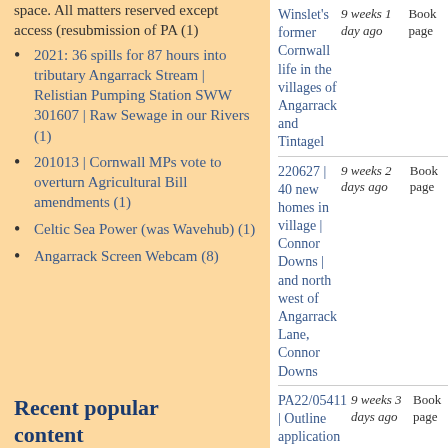space. All matters reserved except access (resubmission of PA (1)
2021: 36 spills for 87 hours into tributary Angarrack Stream | Relistian Pumping Station SWW 301607 | Raw Sewage in our Rivers (1)
201013 | Cornwall MPs vote to overturn Agricultural Bill amendments (1)
Celtic Sea Power (was Wavehub) (1)
Angarrack Screen Webcam (8)
Recent popular content
| Title | Age | Book page |
| --- | --- | --- |
| Winslet's former Cornwall life in the villages of Angarrack and Tintagel | 9 weeks 1 day ago | Book page |
| 220627 | 40 new homes in village | Connor Downs | and north west of Angarrack Lane, Connor Downs | 9 weeks 2 days ago | Book page |
| PA22/05411 | Outline application for 40 units with associated open space. All matters reserved | 9 weeks 3 days ago | Book page |